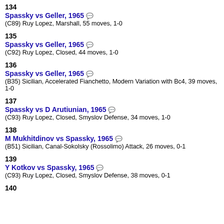134
Spassky vs Geller, 1965
(C89) Ruy Lopez, Marshall, 55 moves, 1-0
135
Spassky vs Geller, 1965
(C92) Ruy Lopez, Closed, 44 moves, 1-0
136
Spassky vs Geller, 1965
(B35) Sicilian, Accelerated Fianchetto, Modern Variation with Bc4, 39 moves, 1-0
137
Spassky vs D Arutiunian, 1965
(C93) Ruy Lopez, Closed, Smyslov Defense, 34 moves, 1-0
138
M Mukhitdinov vs Spassky, 1965
(B51) Sicilian, Canal-Sokolsky (Rossolimo) Attack, 26 moves, 0-1
139
Y Kotkov vs Spassky, 1965
(C93) Ruy Lopez, Closed, Smyslov Defense, 38 moves, 0-1
140